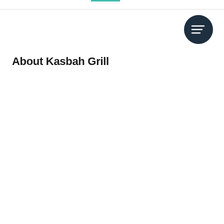[Figure (other): Dark circular button with three horizontal lines (hamburger/sort menu icon) in white, positioned top-right]
About Kasbah Grill